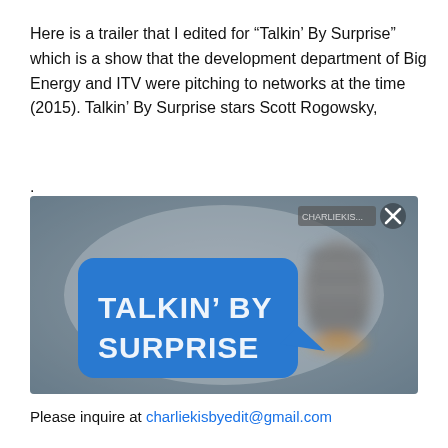Here is a trailer that I edited for “Talkin’ By Surprise” which is a show that the development department of Big Energy and ITV were pitching to networks at the time (2015). Talkin’ By Surprise stars Scott Rogowsky,
.
[Figure (screenshot): Video thumbnail showing a blue speech bubble graphic with white bold text reading 'TALKIN' BY SURPRISE' on the left, and a blurry vintage microphone on the right, on a grey/blue blurred background. An X close button is visible in the top right corner with a small overlay label.]
Please inquire at charliekisbyedit@gmail.com